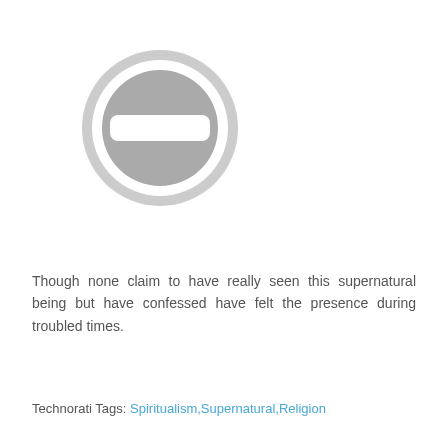[Figure (illustration): A gray circular no-entry or blocked icon — a dark gray filled circle with a white rounded rectangle (minus/dash shape) in the center, surrounded by a light gray ring border.]
Though none claim to have really seen this supernatural being but have confessed have felt the presence during troubled times.
Technorati Tags: Spiritualism,Supernatural,Religion